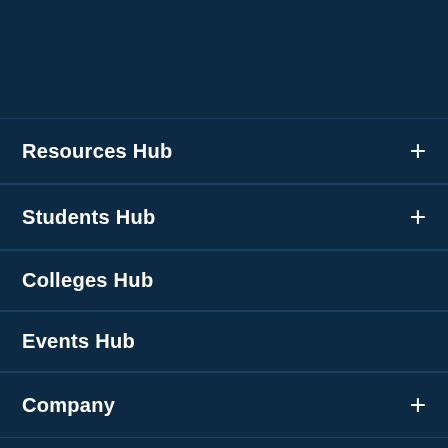Resources Hub
Students Hub
Colleges Hub
Events Hub
Company
Follow Us
[Figure (infographic): Social media icons: Twitter, Facebook, Instagram, YouTube, Flickr]